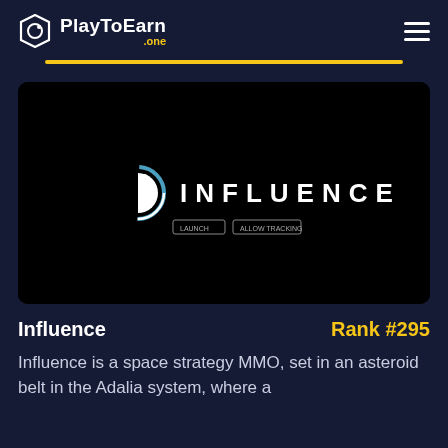PlayToEarn .one
[Figure (screenshot): Screenshot of the Influence game logo on a black background. The logo shows a stylized circular icon resembling a planet or eye, followed by the word INFLUENCE in spaced white letters.]
Influence    Rank #295
Influence is a space strategy MMO, set in an asteroid belt in the Adalia system, where a